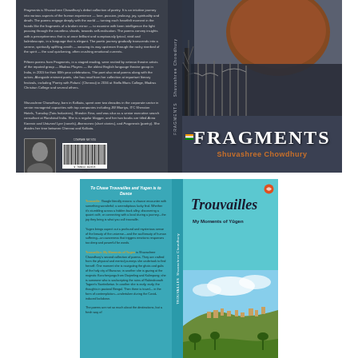[Figure (photo): Book cover of 'Fragments' by Shuvashree Chowdhury — showing front cover with a domed architectural structure, and back cover with author bio text, author photo, and barcode. Dark blue-grey background.]
[Figure (photo): Book cover of 'Trouvailles: My Moments of Yugen' by Shuvashree Chowdhury — front cover shows teal/turquoise background with a landscape photo of a hillside village, back cover has descriptive text. Teal background.]